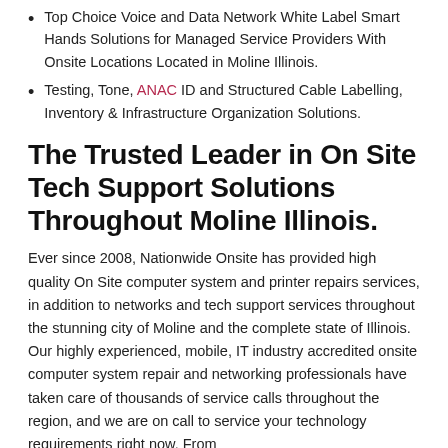Top Choice Voice and Data Network White Label Smart Hands Solutions for Managed Service Providers With Onsite Locations Located in Moline Illinois.
Testing, Tone, ANAC ID and Structured Cable Labelling, Inventory & Infrastructure Organization Solutions.
The Trusted Leader in On Site Tech Support Solutions Throughout Moline Illinois.
Ever since 2008, Nationwide Onsite has provided high quality On Site computer system and printer repairs services, in addition to networks and tech support services throughout the stunning city of Moline and the complete state of Illinois. Our highly experienced, mobile, IT industry accredited onsite computer system repair and networking professionals have taken care of thousands of service calls throughout the region, and we are on call to service your technology requirements right now. From